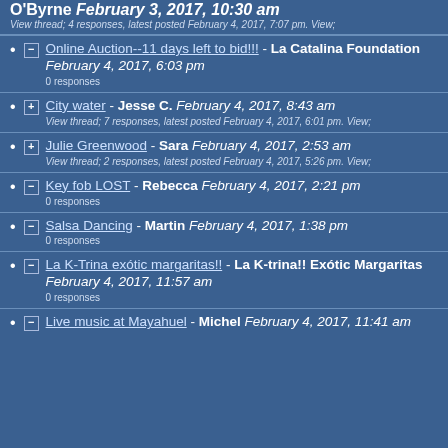O'Byrne February 3, 2017, 10:30 am - View thread; 4 responses, latest posted February 4, 2017, 7:07 pm. View;
Online Auction--11 days left to bid!!! - La Catalina Foundation February 4, 2017, 6:03 pm - 0 responses
City water - Jesse C. February 4, 2017, 8:43 am - View thread; 7 responses, latest posted February 4, 2017, 6:01 pm. View;
Julie Greenwood - Sara February 4, 2017, 2:53 am - View thread; 2 responses, latest posted February 4, 2017, 5:26 pm. View;
Key fob LOST - Rebecca February 4, 2017, 2:21 pm - 0 responses
Salsa Dancing - Martin February 4, 2017, 1:38 pm - 0 responses
La K-Trina exótic margaritas!! - La K-trina!! Exótic Margaritas February 4, 2017, 11:57 am - 0 responses
Live music at Mayahuel - Michel February 4, 2017, 11:41 am